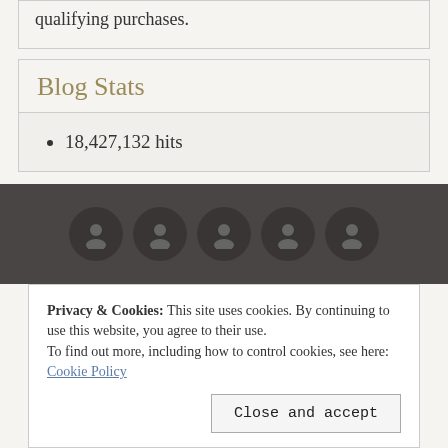qualifying purchases.
Blog Stats
18,427,132 hits
[Figure (illustration): Five circular avatar icons in a dark footer bar]
Privacy & Cookies: This site uses cookies. By continuing to use this website, you agree to their use.
To find out more, including how to control cookies, see here: Cookie Policy
Close and accept
permission before using any content from my blog for any other